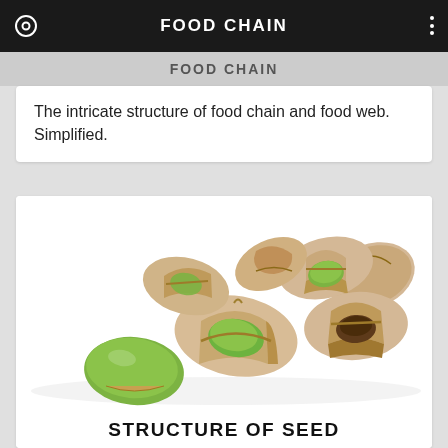FOOD CHAIN
The intricate structure of food chain and food web. Simplified.
[Figure (photo): Pistachio nuts, some opened showing green kernels and shells, on a white background]
STRUCTURE OF SEED